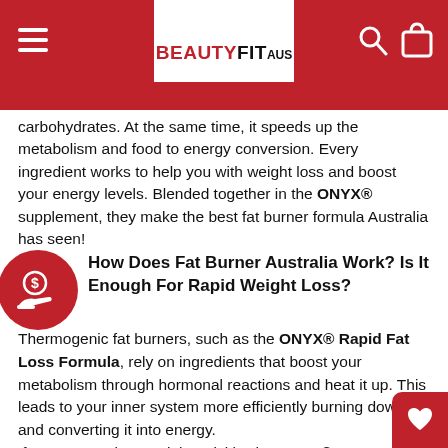BEAUTYFIT AUS
carbohydrates. At the same time, it speeds up the metabolism and food to energy conversion. Every ingredient works to help you with weight loss and boost your energy levels. Blended together in the ONYX® supplement, they make the best fat burner formula Australia has seen!
How Does Fat Burner Australia Work? Is It Enough For Rapid Weight Loss?
Thermogenic fat burners, such as the ONYX® Rapid Fat Loss Formula, rely on ingredients that boost your metabolism through hormonal reactions and heat it up. This leads to your inner system more efficiently burning down fat and converting it into energy.
If you want to lose weight quickly, the ONYX® Fat Loss Formula will help you; but it will not do it for you!
You still need to follow your rapid weight loss diet and put in the hard yards at the gym.
The Onyx supplement will help you get noticeable results in no time.